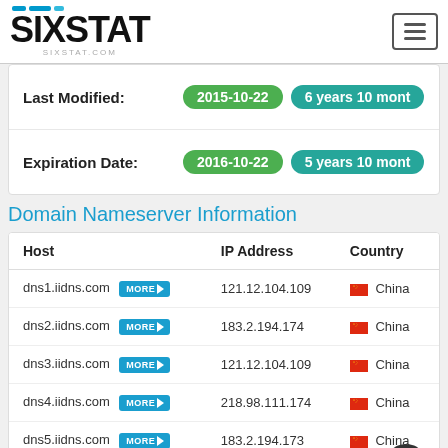SIXSTAT - sixstat.com
| Last Modified: | 2015-10-22 | 6 years 10 mont |
| Expiration Date: | 2016-10-22 | 5 years 10 mont |
Domain Nameserver Information
| Host | IP Address | Country |
| --- | --- | --- |
| dns1.iidns.com | 121.12.104.109 | China |
| dns2.iidns.com | 183.2.194.174 | China |
| dns3.iidns.com | 121.12.104.109 | China |
| dns4.iidns.com | 218.98.111.174 | China |
| dns5.iidns.com | 183.2.194.173 | China |
| dns6.iidns.com | 121.12.104.110 | China |